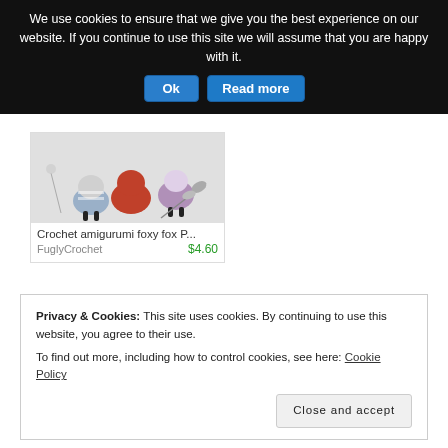We use cookies to ensure that we give you the best experience on our website. If you continue to use this site we will assume that you are happy with it.
Ok | Read more
[Figure (photo): Photo of crochet amigurumi fox toys against white background]
Crochet amigurumi foxy fox P...
FuglyCrochet
$4.60
Etsy
FuglyCrochet
Privacy & Cookies: This site uses cookies. By continuing to use this website, you agree to their use.
To find out more, including how to control cookies, see here: Cookie Policy
Close and accept